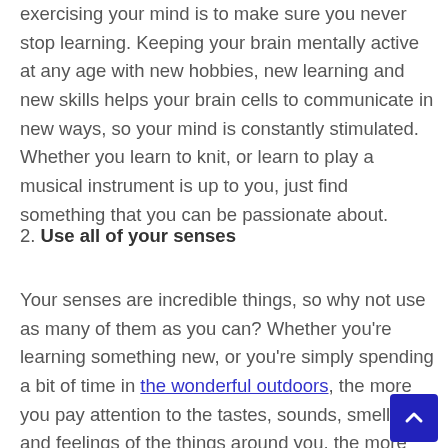exercising your mind is to make sure you never stop learning. Keeping your brain mentally active at any age with new hobbies, new learning and new skills helps your brain cells to communicate in new ways, so your mind is constantly stimulated. Whether you learn to knit, or learn to play a musical instrument is up to you, just find something that you can be passionate about.
2. Use all of your senses
Your senses are incredible things, so why not use as many of them as you can? Whether you're learning something new, or you're simply spending a bit of time in the wonderful outdoors, the more you pay attention to the tastes, sounds, smells, and feelings of the things around you, the more you'll improve your